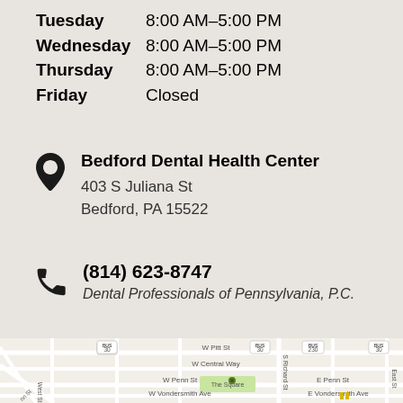Tuesday  8:00 AM–5:00 PM
Wednesday  8:00 AM–5:00 PM
Thursday  8:00 AM–5:00 PM
Friday  Closed
Bedford Dental Health Center
403 S Juliana St
Bedford, PA 15522
(814) 623-8747
Dental Professionals of Pennsylvania, P.C.
[Figure (map): Street map of Bedford, PA showing the area around The Square at S Richard St and W Penn St, with routes 30 and 230 marked.]